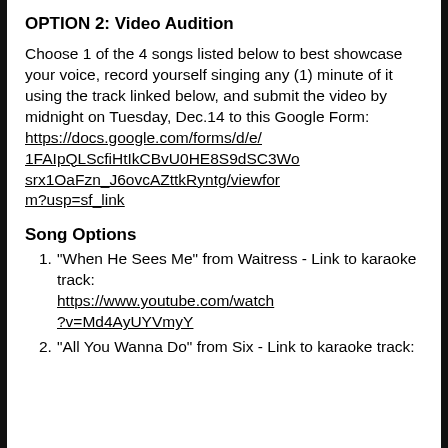OPTION 2: Video Audition
Choose 1 of the 4 songs listed below to best showcase your voice, record yourself singing any (1) minute of it using the track linked below, and submit the video by midnight on Tuesday, Dec.14 to this Google Form: https://docs.google.com/forms/d/e/1FAIpQLScfiHtIkCBvU0HE8S9dSC3Wosrx1OaFzn_J6ovcAZttkRyntg/viewform?usp=sf_link
Song Options
"When He Sees Me" from Waitress - Link to karaoke track: https://www.youtube.com/watch?v=Md4AyUYVmyY
"All You Wanna Do" from Six - Link to karaoke track: